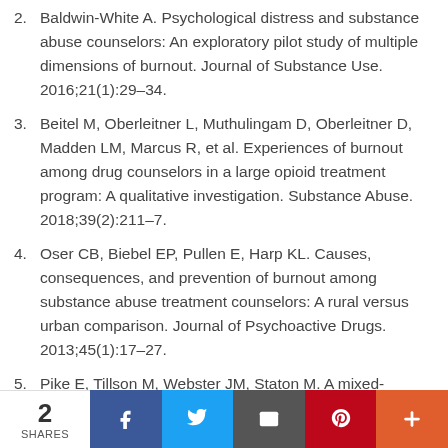Baldwin-White A. Psychological distress and substance abuse counselors: An exploratory pilot study of multiple dimensions of burnout. Journal of Substance Use. 2016;21(1):29–34.
Beitel M, Oberleitner L, Muthulingam D, Oberleitner D, Madden LM, Marcus R, et al. Experiences of burnout among drug counselors in a large opioid treatment program: A qualitative investigation. Substance Abuse. 2018;39(2):211–7.
Oser CB, Biebel EP, Pullen E, Harp KL. Causes, consequences, and prevention of burnout among substance abuse treatment counselors: A rural versus urban comparison. Journal of Psychoactive Drugs. 2013;45(1):17–27.
Pike E, Tillson M, Webster JM, Staton M. A mixed-methods assessment of the impact of the opioid